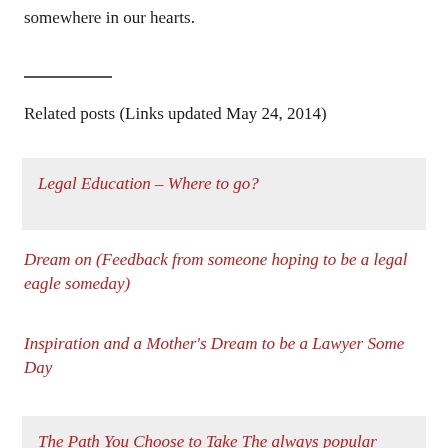somewhere in our hearts.
Related posts (Links updated May 24, 2014)
Legal Education – Where to go?
Dream on (Feedback from someone hoping to be a legal eagle someday)
Inspiration and a Mother's Dream to be a Lawyer Some Day
The Path You Choose to Take The always popular...